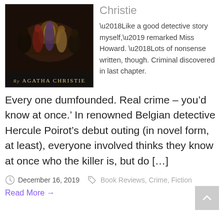[Figure (illustration): Book cover of an Agatha Christie novel showing dark figures gathered around a table, with text 'By AGATHA CHRISTIE' at the bottom.]
Christie
‘Like a good detective story myself,’ remarked Miss Howard. ‘Lots of nonsense written, though. Criminal discovered in last chapter. Every one dumfounded. Real crime – you’d know at once.’ In renowned Belgian detective Hercule Poirot’s debut outing (in novel form, at least), everyone involved thinks they know at once who the killer is, but do [...]
December 16, 2019   Book Reviews, Crime, Fiction
Read More →